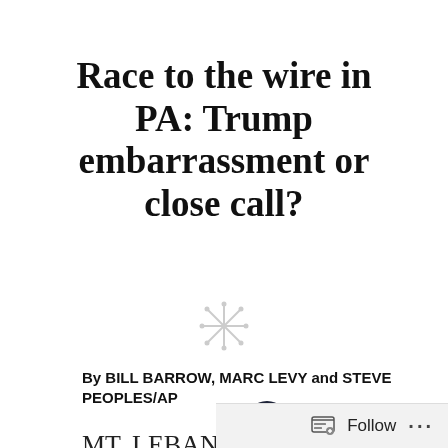Race to the wire in PA: Trump embarrassment or close call?
[Figure (other): Decorative divider: a small asterisk/snowflake symbol in light gray]
By BILL BARROW, MARC LEVY and STEVE PEOPLES/AP
MT. LEBANON, Pa. (AP) — Democrat Conor Lamb and Republican Rick Saccone were